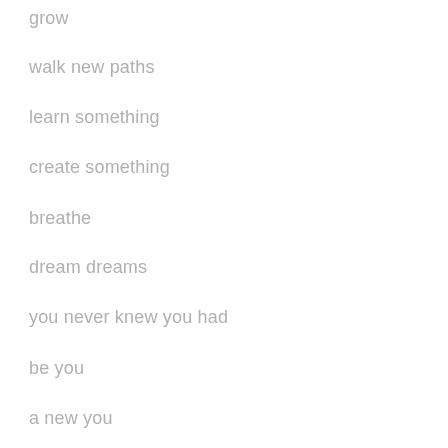grow
walk new paths
learn something
create something
breathe
dream dreams
you never knew you had
be you
a new you